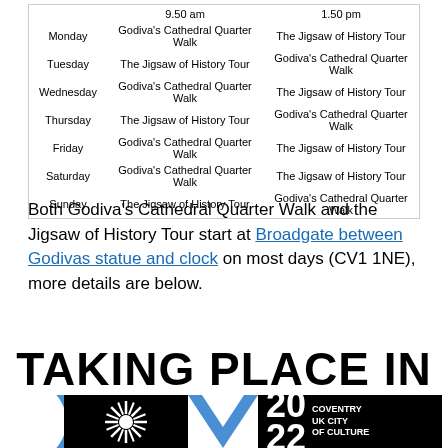|  | 9.50 am | 1.50 pm |
| --- | --- | --- |
| Monday | Godiva's Cathedral Quarter Walk | The Jigsaw of History Tour |
| Tuesday | The Jigsaw of History Tour | Godiva's Cathedral Quarter Walk |
| Wednesday | Godiva's Cathedral Quarter Walk | The Jigsaw of History Tour |
| Thursday | The Jigsaw of History Tour | Godiva's Cathedral Quarter Walk |
| Friday | Godiva's Cathedral Quarter Walk | The Jigsaw of History Tour |
| Saturday | Godiva's Cathedral Quarter Walk | The Jigsaw of History Tour |
| Sunday | The Jigsaw of History Tour | Godiva's Cathedral Quarter Walk |
Both Godiva's Cathedral Quarter Walk and the Jigsaw of History Tour start at Broadgate between Godivas statue and clock on most days (CV1 1NE), more details are below.
TAKING PLACE IN
[Figure (logo): Coventry 2022 UK City of Culture logo with blue C and V shapes, black sunburst, and 2022 text]